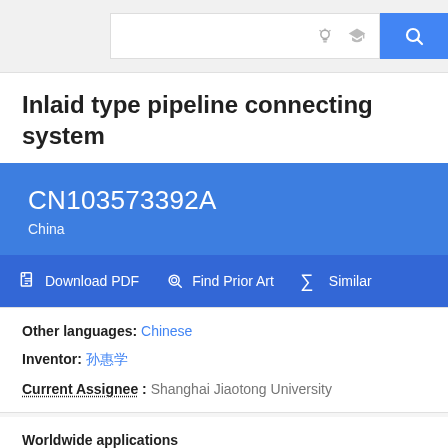[Figure (screenshot): Google Patents search bar with lightbulb icon, graduation cap icon, and blue search button with magnifying glass icon]
Inlaid type pipeline connecting system
CN103573392A
China
Download PDF  Find Prior Art  Similar
Other languages: Chinese
Inventor: 孙惠学
Current Assignee : Shanghai Jiaotong University
Worldwide applications
2013 · CN